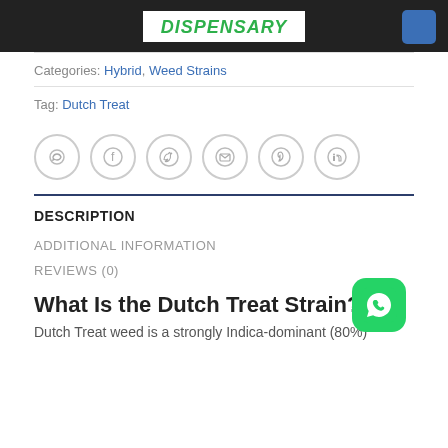DISPENSARY
Categories: Hybrid, Weed Strains
Tag: Dutch Treat
[Figure (other): Social share icons row: WhatsApp, Facebook, Twitter, Email, Pinterest, LinkedIn — all gray circle outline icons]
DESCRIPTION
ADDITIONAL INFORMATION
REVIEWS (0)
What Is the Dutch Treat Strain?
Dutch Treat weed is a strongly Indica-dominant (80%)
[Figure (logo): WhatsApp green rounded square button with phone handset icon]